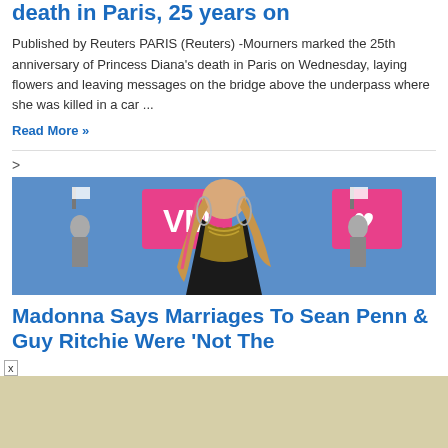death in Paris, 25 years on
Published by Reuters PARIS (Reuters) -Mourners marked the 25th anniversary of Princess Diana's death in Paris on Wednesday, laying flowers and leaving messages on the bridge above the underpass where she was killed in a car ...
Read More »
[Figure (photo): Woman with braided hair with pink highlights, large hoop earrings and layered necklaces, standing in front of a blue MTV VMAs backdrop with pink VMA logos]
Madonna Says Marriages To Sean Penn & Guy Ritchie Were 'Not The